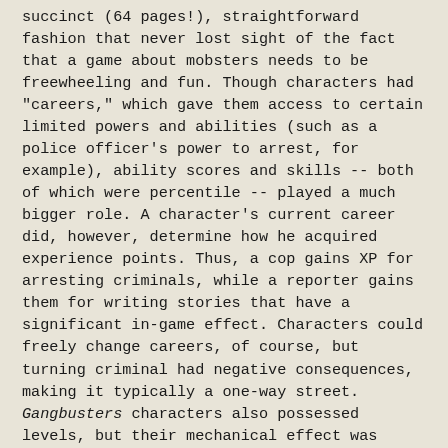succinct (64 pages!), straightforward fashion that never lost sight of the fact that a game about mobsters needs to be freewheeling and fun. Though characters had "careers," which gave them access to certain limited powers and abilities (such as a police officer's power to arrest, for example), ability scores and skills -- both of which were percentile -- played a much bigger role. A character's current career did, however, determine how he acquired experience points. Thus, a cop gains XP for arresting criminals, while a reporter gains them for writing stories that have a significant in-game effect. Characters could freely change careers, of course, but turning criminal had negative consequences, making it typically a one-way street. Gangbusters characters also possessed levels, but their mechanical effect was small, serving primarily as a gauge of social importance and influence (along with granting points to spend on character improvement, which was small and slow).
If Gangbusters had a flaw, it was the fact that it assumed adventures and campaigns would take place within a fictitious city on the shores of Lake Michigan called Lakefront City, a kind of smaller, ersatz Chicago, whose precise details the ...